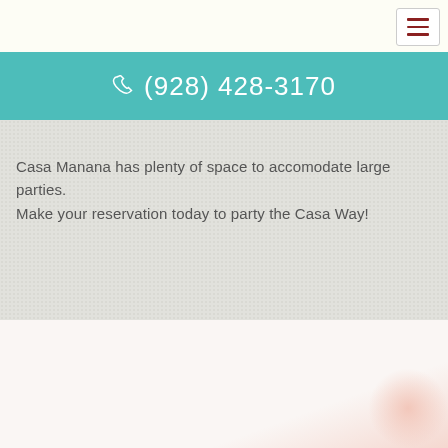(928) 428-3170
Casa Manana has plenty of space to accomodate large parties. Make your reservation today to party the Casa Way!